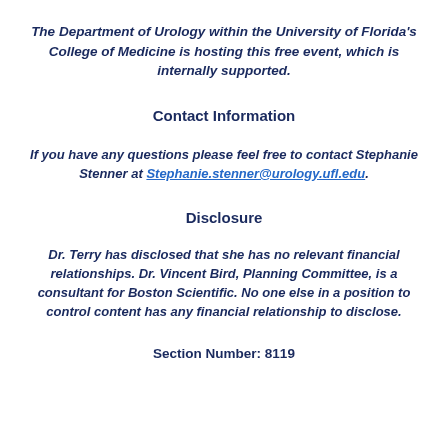The Department of Urology within the University of Florida's College of Medicine is hosting this free event, which is internally supported.
Contact Information
If you have any questions please feel free to contact Stephanie Stenner at Stephanie.stenner@urology.ufl.edu.
Disclosure
Dr. Terry has disclosed that she has no relevant financial relationships. Dr. Vincent Bird, Planning Committee, is a consultant for Boston Scientific. No one else in a position to control content has any financial relationship to disclose.
Section Number: 8119